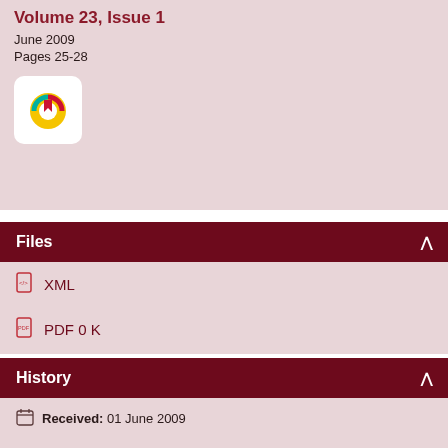Volume 23, Issue 1
June 2009
Pages 25-28
[Figure (logo): Journal logo icon with red bookmark and circular design]
Files
XML
PDF 0 K
History
Received: 01 June 2009
Revised: 20 June 2009
Accept: 25 June 2009
Publish: 28 June 2009